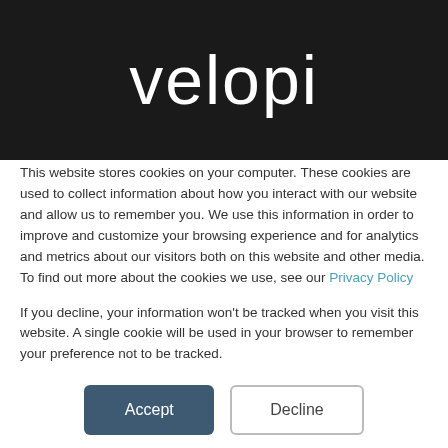[Figure (logo): Velopi company logo in white text on dark background]
This website stores cookies on your computer. These cookies are used to collect information about how you interact with our website and allow us to remember you. We use this information in order to improve and customize your browsing experience and for analytics and metrics about our visitors both on this website and other media. To find out more about the cookies we use, see our Privacy Policy
If you decline, your information won't be tracked when you visit this website. A single cookie will be used in your browser to remember your preference not to be tracked.
Accept
Decline